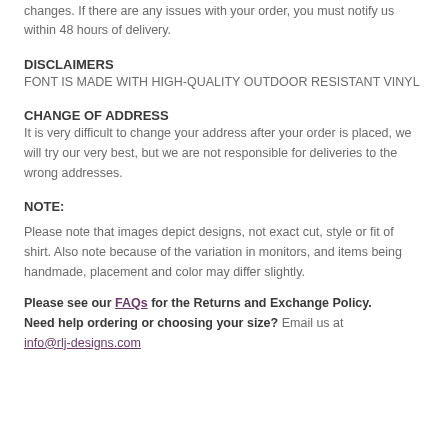changes. If there are any issues with your order, you must notify us within 48 hours of delivery.
DISCLAIMERS
FONT IS MADE WITH HIGH-QUALITY OUTDOOR RESISTANT VINYL
CHANGE OF ADDRESS
It is very difficult to change your address after your order is placed, we will try our very best, but we are not responsible for deliveries to the wrong addresses.
NOTE:
Please note that images depict designs, not exact cut, style or fit of shirt. Also note because of the variation in monitors, and items being handmade, placement and color may differ slightly.
Please see our FAQs for the Returns and Exchange Policy. Need help ordering or choosing your size? Email us at info@rlj-designs.com